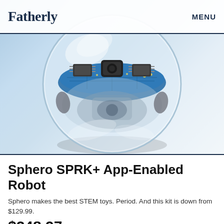Fatherly   MENU
[Figure (photo): A transparent Sphero SPRK+ robot ball showing internal circuit board and mechanical components, displayed against a light blue/white background. The ball is clear/translucent revealing blue circuit boards, black components, and silver internal mechanisms.]
Sphero SPRK+ App-Enabled Robot
Sphero makes the best STEM toys. Period. And this kit is down from $129.99.
$248.97